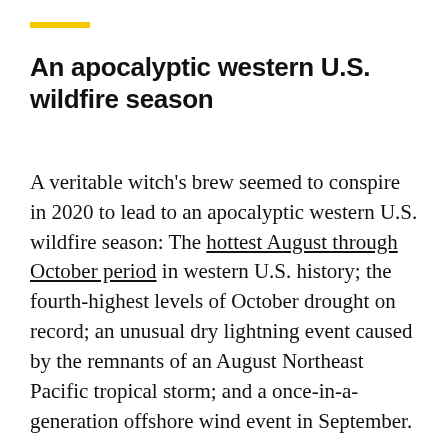An apocalyptic western U.S. wildfire season
A veritable witch's brew seemed to conspire in 2020 to lead to an apocalyptic western U.S. wildfire season: The hottest August through October period in western U.S. history; the fourth-highest levels of October drought on record; an unusual dry lightning event caused by the remnants of an August Northeast Pacific tropical storm; and a once-in-a-generation offshore wind event in September.